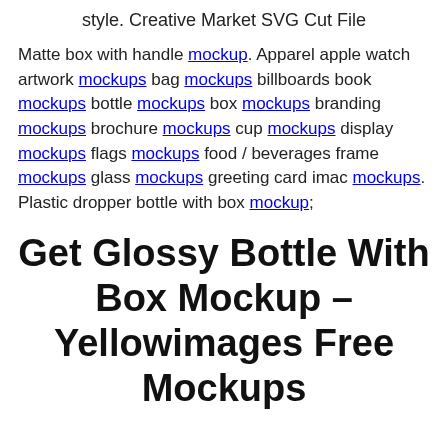style. Creative Market SVG Cut File
Matte box with handle mockup. Apparel apple watch artwork mockups bag mockups billboards book mockups bottle mockups box mockups branding mockups brochure mockups cup mockups display mockups flags mockups food / beverages frame mockups glass mockups greeting card imac mockups. Plastic dropper bottle with box mockup;
Get Glossy Bottle With Box Mockup – Yellowimages Free Mockups